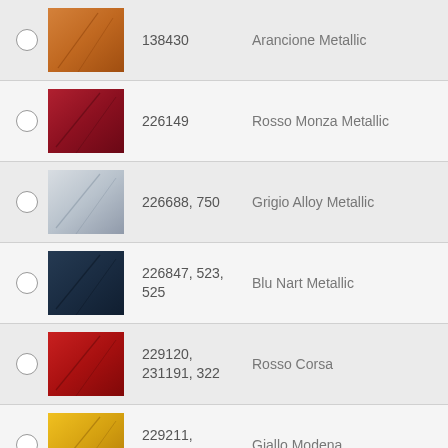138430 — Arancione Metallic
226149 — Rosso Monza Metallic
226688, 750 — Grigio Alloy Metallic
226847, 523, 525 — Blu Nart Metallic
229120, 231191, 322 — Rosso Corsa
229211, 231259, 4305 — Giallo Modena